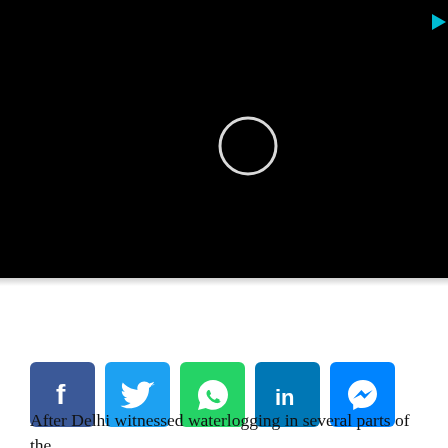[Figure (screenshot): Black video player screen with a circular play button outline and a small cyan/teal triangle play icon at the top right area]
[Figure (other): Row of five social media share buttons: Facebook (blue), Twitter (light blue), WhatsApp (green), LinkedIn (blue), Messenger (blue)]
After Delhi witnessed waterlogging in several parts of the